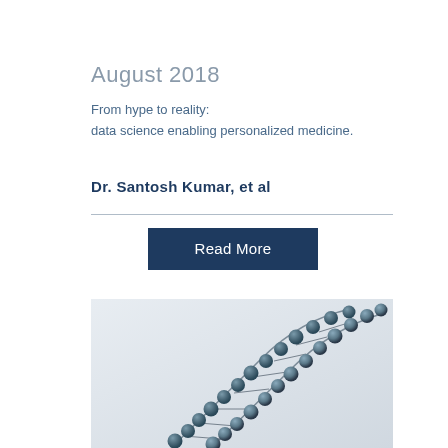August 2018
From hype to reality:
data science enabling personalized medicine.
Dr. Santosh Kumar, et al
[Figure (photo): Close-up photo of a DNA double helix molecular model with dark teal/grey spherical beads on a light grey background]